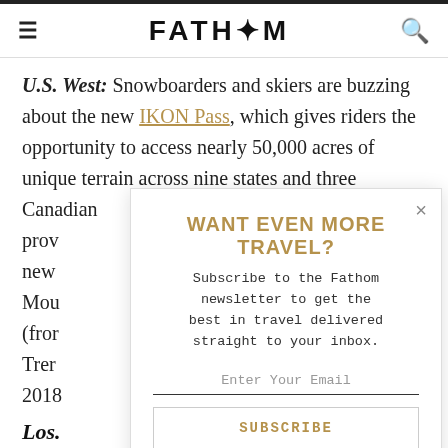FATH*M
U.S. West: Snowboarders and skiers are buzzing about the new IKON Pass, which gives riders the opportunity to access nearly 50,000 acres of unique terrain across nine states and three Canadian prov... new Mou... (fron Tren... 2018
[Figure (screenshot): Email newsletter signup modal overlay with title 'WANT EVEN MORE TRAVEL?', subtitle text, email input field, and SUBSCRIBE button]
Los...